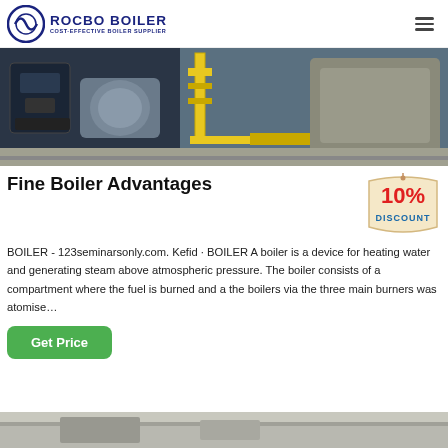ROCBO BOILER - COST-EFFECTIVE BOILER SUPPLIER
[Figure (photo): Industrial boiler equipment with yellow pipe fittings and black machinery components visible]
Fine Boiler Advantages
[Figure (other): 10% DISCOUNT badge/tag]
BOILER - 123seminarsonly.com. Kefid · BOILER A boiler is a device for heating water and generating steam above atmospheric pressure. The boiler consists of a compartment where the fuel is burned and a the boilers via the three main burners was atomise…
Get Price
[Figure (photo): Bottom portion of another boiler or industrial equipment image, partially visible]